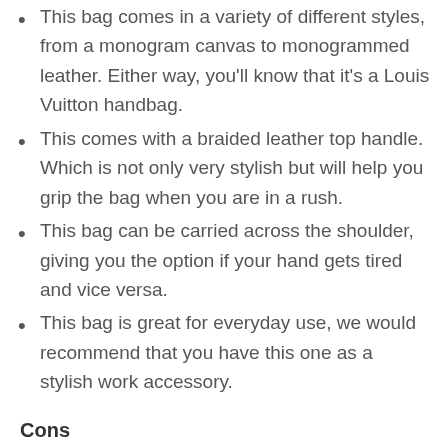This bag comes in a variety of different styles, from a monogram canvas to monogrammed leather. Either way, you'll know that it's a Louis Vuitton handbag.
This comes with a braided leather top handle. Which is not only very stylish but will help you grip the bag when you are in a rush.
This bag can be carried across the shoulder, giving you the option if your hand gets tired and vice versa.
This bag is great for everyday use, we would recommend that you have this one as a stylish work accessory.
Cons